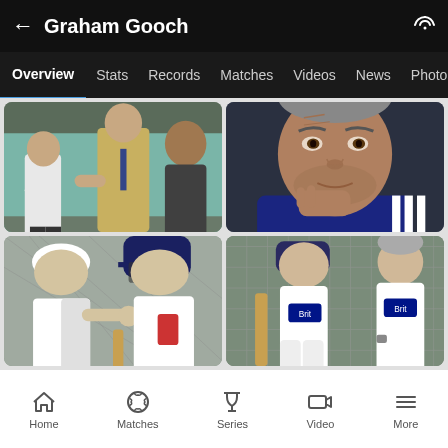Graham Gooch
Overview | Stats | Records | Matches | Videos | News | Photos
[Figure (photo): Four photos of Graham Gooch: top-left shows a group of people, top-right shows Graham Gooch's close-up face, bottom-left shows cricket players in helmets, bottom-right shows cricket net practice session.]
Home | Matches | Series | Video | More